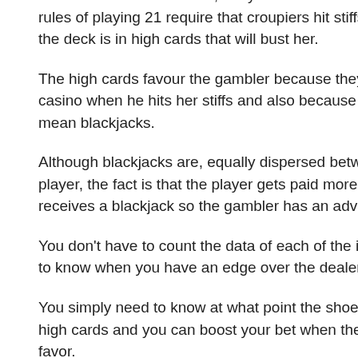He has no choice to make, but you do and this is your advantage. The rules of playing 21 require that croupiers hit stiffs no matter how flush the deck is in high cards that will bust her.
The high cards favour the gambler because they might break the casino when he hits her stiffs and also because both tens and Aces mean blackjacks.
Although blackjacks are, equally dispersed between the dealer and the player, the fact is that the player gets paid more (3:2) when she receives a blackjack so the gambler has an advantage.
You don't have to count the data of each of the individual card in order to know when you have an edge over the dealer.
You simply need to know at what point the shoe is rich or reduced in high cards and you can boost your bet when the expectation is in your favor.